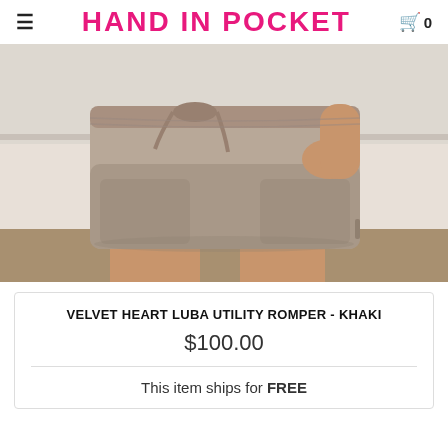HAND IN POCKET
[Figure (photo): Close-up photo of a model wearing khaki utility shorts/romper with drawstring waist, large front pockets, and a hand in pocket pose against a white wall background.]
VELVET HEART LUBA UTILITY ROMPER - KHAKI
$100.00
This item ships for FREE